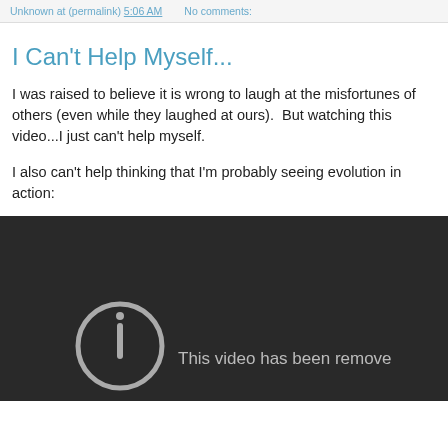Unknown at (permalink) 5:06 AM   No comments:
I Can't Help Myself...
I was raised to believe it is wrong to laugh at the misfortunes of others (even while they laughed at ours).  But watching this video...I just can't help myself.
I also can't help thinking that I'm probably seeing evolution in action:
[Figure (screenshot): Dark video player showing a removed video message with a circular icon and partial text 'This video has been remove']